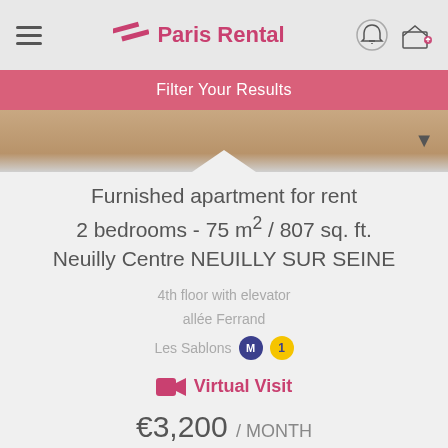Paris Rental
Filter Your Results
[Figure (photo): Partial view of apartment interior, image strip with upward chevron]
Furnished apartment for rent 2 bedrooms - 75 m² / 807 sq. ft. Neuilly Centre NEUILLY SUR SEINE
4th floor with elevator
allée Ferrand
Les Sablons  M  1
Virtual Visit
€3,200 / MONTH
AVAILABLE NOW
REF. 58647